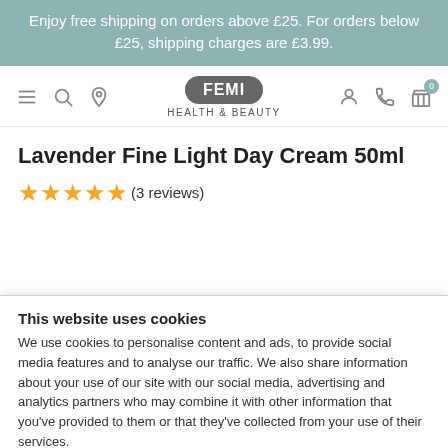Enjoy free shipping on orders above £25. For orders below £25, shipping charges are £3.99.
[Figure (logo): FEMI Health & Beauty navigation bar with hamburger menu, search, location, logo, account, phone, and cart icons]
Lavender Fine Light Day Cream 50ml
★★★★★ (3 reviews)
This website uses cookies
We use cookies to personalise content and ads, to provide social media features and to analyse our traffic. We also share information about your use of our site with our social media, advertising and analytics partners who may combine it with other information that you've provided to them or that they've collected from your use of their services.
Allow selection | Allow all cookies
Necessary | Preferences | Statistics | Marketing | Show details